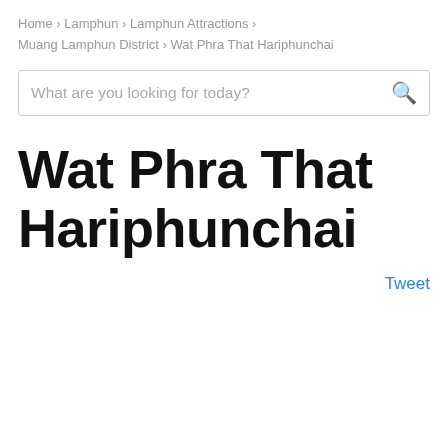Home › Lamphun › Lamphun Attractions › Muang Lamphun District › Wat Phra That Hariphunchai
What are you looking for today?
Wat Phra That Hariphunchai
Tweet